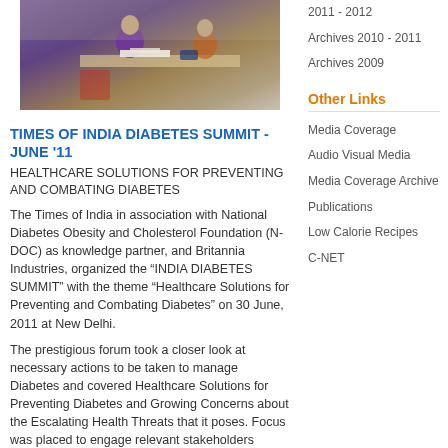[Figure (photo): Two women at a table, appearing to conduct a health screening or consultation at the India Diabetes Summit event.]
2011 - 2012
Archives 2010 - 2011
Archives 2009
Other Links
Media Coverage
Audio Visual Media
Media Coverage Archive
Publications
Low Calorie Recipes
C-NET
TIMES OF INDIA DIABETES SUMMIT - JUNE '11
HEALTHCARE SOLUTIONS FOR PREVENTING AND COMBATING DIABETES
The Times of India in association with National Diabetes Obesity and Cholesterol Foundation (N-DOC) as knowledge partner, and Britannia Industries, organized the “INDIA DIABETES SUMMIT” with the theme “Healthcare Solutions for Preventing and Combating Diabetes” on 30 June, 2011 at New Delhi.
The prestigious forum took a closer look at necessary actions to be taken to manage Diabetes and covered Healthcare Solutions for Preventing Diabetes and Growing Concerns about the Escalating Health Threats that it poses. Focus was placed to engage relevant stakeholders around the conference to deliberate on necessary actions to manage diabetes, the so called lifestyle disease.